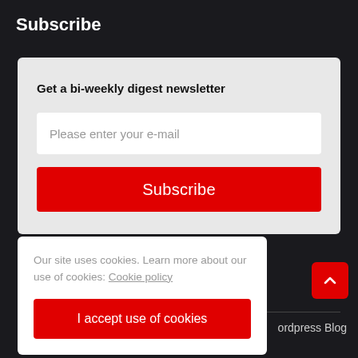Subscribe
Get a bi-weekly digest newsletter
Please enter your e-mail
Subscribe
Our site uses cookies. Learn more about our use of cookies: Cookie policy
I accept use of cookies
Wordpress Blog Theme